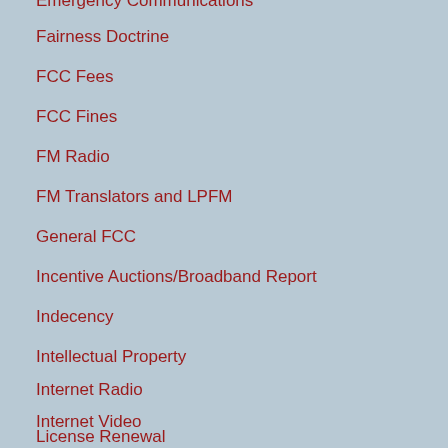Emergency Communications
Fairness Doctrine
FCC Fees
FCC Fines
FM Radio
FM Translators and LPFM
General FCC
Incentive Auctions/Broadband Report
Indecency
Intellectual Property
Internet Radio
Internet Video
License Renewal